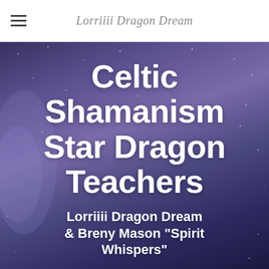Lorriiii Dragon Dream
Celtic Shamanism Star Dragon Teachers
Lorriiii Dragon Dream & Breny Mason "Spirit Whispers"